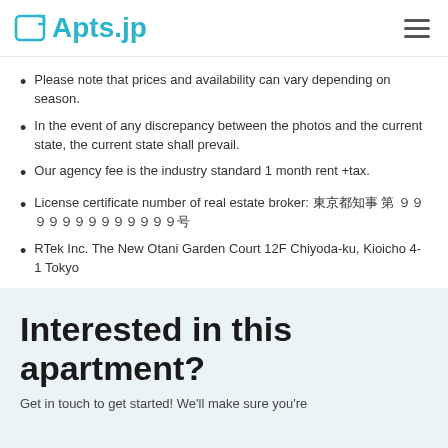Apts.jp
Please note that prices and availability can vary depending on season.
In the event of any discrepancy between the photos and the current state, the current state shall prevail.
Our agency fee is the industry standard 1 month rent +tax.
License certificate number of real estate broker: 東京都知事 第 ９９９９９９９９９９９９９号
RTek Inc. The New Otani Garden Court 12F Chiyoda-ku, Kioicho 4-1 Tokyo
Interested in this apartment?
Get in touch to get started! We'll make sure you're